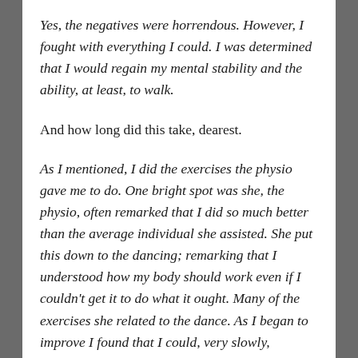Yes, the negatives were horrendous. However, I fought with everything I could. I was determined that I would regain my mental stability and the ability, at least, to walk.
And how long did this take, dearest.
As I mentioned, I did the exercises the physio gave me to do. One bright spot was she, the physio, often remarked that I did so much better than the average individual she assisted. She put this down to the dancing; remarking that I understood how my body should work even if I couldn't get it to do what it ought. Many of the exercises she related to the dance. As I began to improve I found that I could, very slowly,